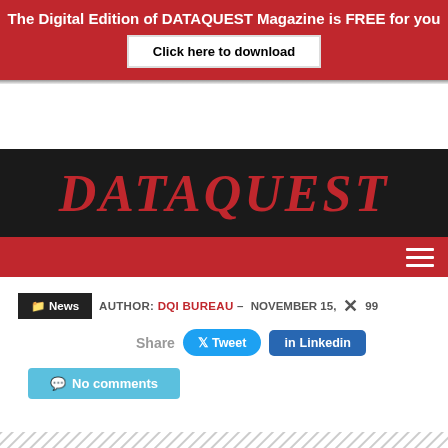The Digital Edition of DATAQUEST Magazine is FREE for you
Click here to download
DATAQUEST
AUTHOR: DQI BUREAU – NOVEMBER 15, 1999
Share  Tweet  Linkedin
No comments